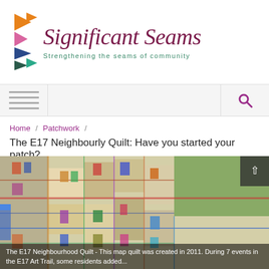[Figure (logo): Significant Seams logo with coloured triangles and cursive text, subtitle: Strengthening the seams of community]
Navigation bar with menu icon and search icon
Home / Patchwork /
The E17 Neighbourly Quilt: Have you started your patch?
[Figure (photo): Photo of the E17 Neighbourhood Quilt - a map quilt showing colourful street map of a neighbourhood]
The E17 Neighbourhood Quilt - This map quilt was created in 2011. During 7 events in the E17 Art Trail, some residents added...